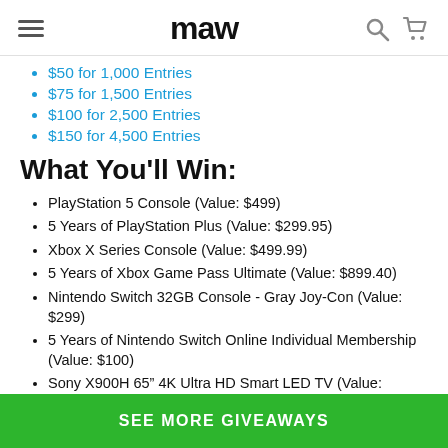maw
$50 for 1,000 Entries
$75 for 1,500 Entries
$100 for 2,500 Entries
$150 for 4,500 Entries
What You'll Win:
PlayStation 5 Console (Value: $499)
5 Years of PlayStation Plus (Value: $299.95)
Xbox X Series Console (Value: $499.99)
5 Years of Xbox Game Pass Ultimate (Value: $899.40)
Nintendo Switch 32GB Console - Gray Joy-Con (Value: $299)
5 Years of Nintendo Switch Online Individual Membership (Value: $100)
Sony X900H 65” 4K Ultra HD Smart LED TV (Value: $1,897.99)
SEE MORE GIVEAWAYS